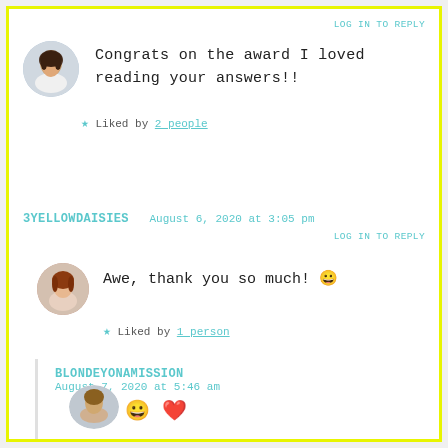LOG IN TO REPLY
Congrats on the award I loved reading your answers!!
★ Liked by 2 people
3YELLOWDAISIES  August 6, 2020 at 3:05 pm
LOG IN TO REPLY
Awe, thank you so much! 😀
★ Liked by 1 person
BLONDEYONAMISSION
August 7, 2020 at 5:46 am
😀 ❤